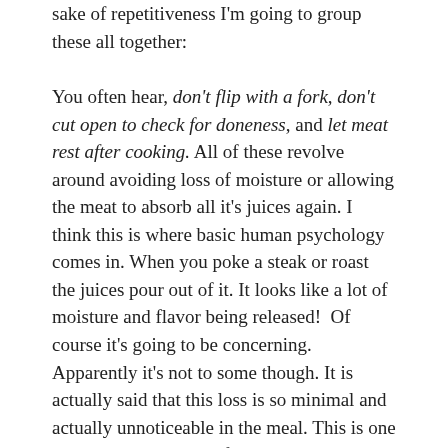sake of repetitiveness I'm going to group these all together:
You often hear, don't flip with a fork, don't cut open to check for doneness, and let meat rest after cooking. All of these revolve around avoiding loss of moisture or allowing the meat to absorb all it's juices again. I think this is where basic human psychology comes in. When you poke a steak or roast the juices pour out of it. It looks like a lot of moisture and flavor being released!  Of course it's going to be concerning. Apparently it's not to some though. It is actually said that this loss is so minimal and actually unnoticeable in the meal. This is one that is probably just safer to agree to disagree with your neighbor.